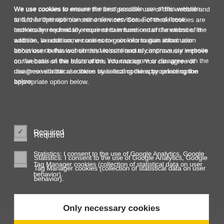We use cookies to ensure the best possible use of this website and to further optimise our online services. Some of these cookies are technically required to ensure certain functions of the website. In addition, we use some cookies to gain information about user behaviour on this website and to continuously improve our website on the basis of this information. You can agree or disagree with the use these statistical cookies by selecting the appropriate option below.
Required
Statistics: I consent to the use of Google Analytics, Google Tag Manager cookies (collection of statistical data on user behavior).
Only necessary cookies
Allow all cookies